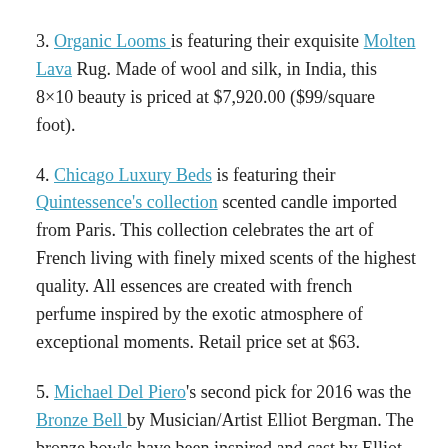3. Organic Looms is featuring their exquisite Molten Lava Rug. Made of wool and silk, in India, this 8×10 beauty is priced at $7,920.00 ($99/square foot).
4. Chicago Luxury Beds is featuring their Quintessence's collection scented candle imported from Paris. This collection celebrates the art of French living with finely mixed scents of the highest quality. All essences are created with french perfume inspired by the exotic atmosphere of exceptional moments. Retail price set at $63.
5. Michael Del Piero's second pick for 2016 was the Bronze Bell by Musician/Artist Elliot Bergman. The bronze bowls have been inspired and cast by Elliot as bells. Inspired by ancient singing bowls from areas in the Himalayan Mountains such as Bhutan and Nepal. Simply put it is believed the sound of the